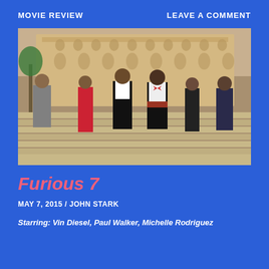MOVIE REVIEW    LEAVE A COMMENT
[Figure (photo): Cast of Furious 7 walking down stairs in front of a grand building. Six people dressed formally — a man in a grey suit, a woman in a red dress, a man in a tuxedo, a man in a white jacket with red bow tie and red sash, a woman in a black dress, and a man in a dark suit.]
Furious 7
MAY 7, 2015 / JOHN STARK
Starring: Vin Diesel, Paul Walker, Michelle Rodriguez